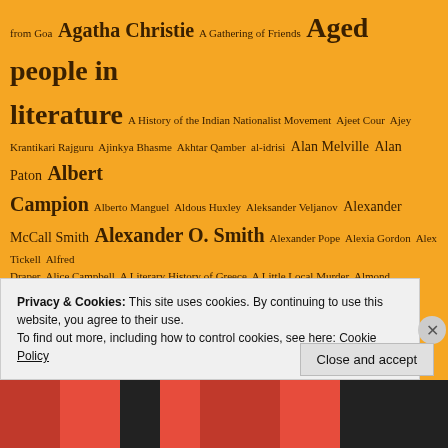from Goa Agatha Christie A Gathering of Friends Aged people in literature A History of the Indian Nationalist Movement Ajeet Cour Ajey Krantikari Rajguru Ajinkya Bhasme Akhtar Qamber al-idrisi Alan Melville Alan Paton Albert Campion Alberto Manguel Aldous Huxley Aleksander Veljanov Alexander McCall Smith Alexander O. Smith Alexander Pope Alexia Gordon Alex Tickell Alfred Draper Alice Campbell A Literary History of Greece A Little Local Murder Almond Eyes Lotus Feet Always Say Die Amar Shahid Chandrashekhar Azad Amar Shahid Sukhdev Amartya Sen Amen: The Autobiography of a Nun American Authors American South A Mind to Murder Ammi: letter to a democratic mother An Advancement of Learning An Afternoon to Kill Anatol Anatomy of a
Privacy & Cookies: This site uses cookies. By continuing to use this website, you agree to their use. To find out more, including how to control cookies, see here: Cookie Policy
Close and accept